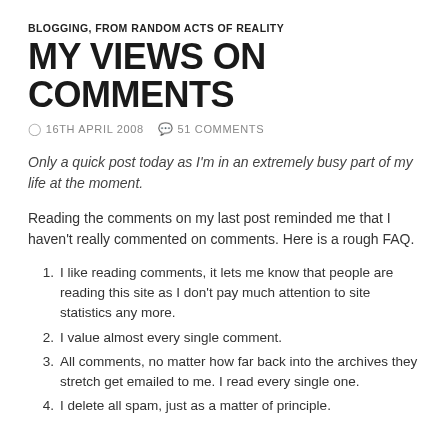BLOGGING, FROM RANDOM ACTS OF REALITY
MY VIEWS ON COMMENTS
16TH APRIL 2008   51 COMMENTS
Only a quick post today as I'm in an extremely busy part of my life at the moment.
Reading the comments on my last post reminded me that I haven't really commented on comments. Here is a rough FAQ.
I like reading comments, it lets me know that people are reading this site as I don't pay much attention to site statistics any more.
I value almost every single comment.
All comments, no matter how far back into the archives they stretch get emailed to me. I read every single one.
I delete all spam, just as a matter of principle.